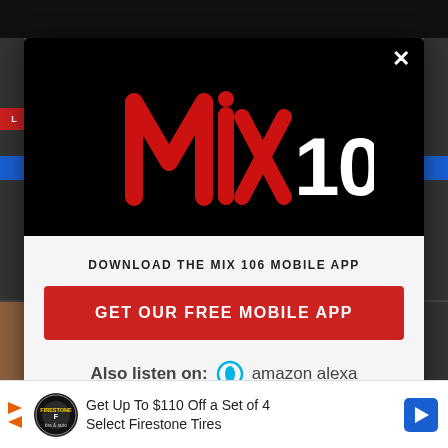[Figure (logo): Mix 106 radio station logo — stylized red script 'Mix' with white '106' on black background]
DOWNLOAD THE MIX 106 MOBILE APP
GET OUR FREE MOBILE APP
Also listen on:  amazon alexa
Get Up To $110 Off a Set of 4 Select Firestone Tires